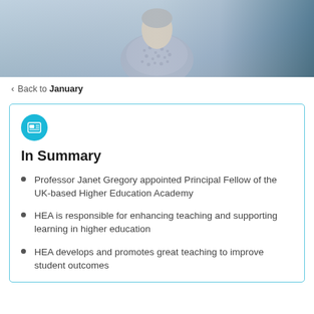[Figure (photo): Partial photo of a person wearing a patterned blazer, background is blurred with blue-grey tones]
< Back to January
In Summary
Professor Janet Gregory appointed Principal Fellow of the UK-based Higher Education Academy
HEA is responsible for enhancing teaching and supporting learning in higher education
HEA develops and promotes great teaching to improve student outcomes